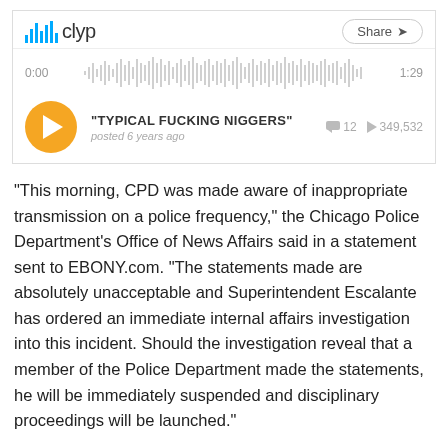[Figure (screenshot): Clyp audio player screenshot showing a track titled 'TYPICAL FUCKING NIGGERS', posted 6 years ago, with 12 comments and 349,532 plays, duration 1:29]
“This morning, CPD was made aware of inappropriate transmission on a police frequency,” the Chicago Police Department’s Office of News Affairs said in a statement sent to EBONY.com. “The statements made are absolutely unacceptable and Superintendent Escalante has ordered an immediate internal affairs investigation into this incident. Should the investigation reveal that a member of the Police Department made the statements, he will be immediately suspended and disciplinary proceedings will be launched.”
For the sake of our community’s already shaken faith in the police, we’re going to pray this was a hack.